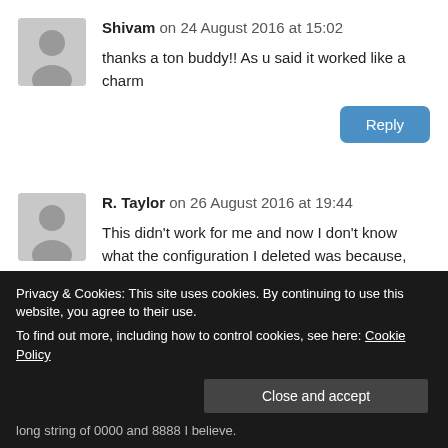Shivam on 24 August 2016 at 15:02
thanks a ton buddy!! As u said it worked like a charm
Reply
R. Taylor on 26 August 2016 at 19:44
This didn’t work for me and now I don’t know what the configuration I deleted was because, dummy me, did not copy it down first. My network connections page is still totally emptied and there is still no long string of 0000 and 8888 I believe.
Privacy & Cookies: This site uses cookies. By continuing to use this website, you agree to their use.
To find out more, including how to control cookies, see here: Cookie Policy
Close and accept